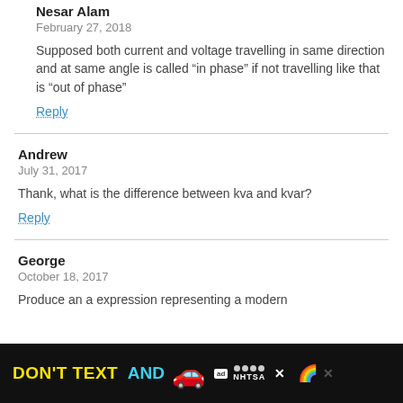Nesar Alam
February 27, 2018
Supposed both current and voltage travelling in same direction and at same angle is called “in phase” if not travelling like that is “out of phase”
Reply
Andrew
July 31, 2017
Thank, what is the difference between kva and kvar?
Reply
George
October 18, 2017
Produce an a expression representing a modern
[Figure (advertisement): DON'T TEXT AND [car emoji] advertisement banner, black background with yellow and cyan text, NHTSA ad badge]